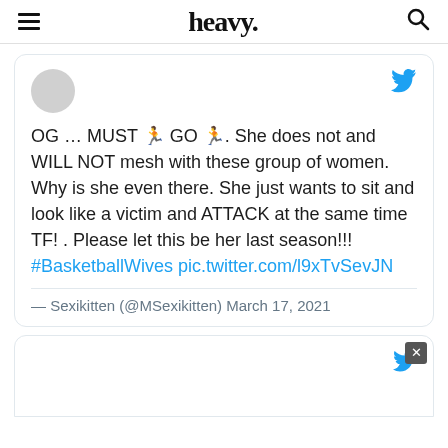heavy.
OG … MUST 🏃 GO 🏃. She does not and WILL NOT mesh with these group of women. Why is she even there. She just wants to sit and look like a victim and ATTACK at the same time TF! . Please let this be her last season!!! #BasketballWives pic.twitter.com/l9xTvSevJN
— Sexikitten (@MSexikitten) March 17, 2021